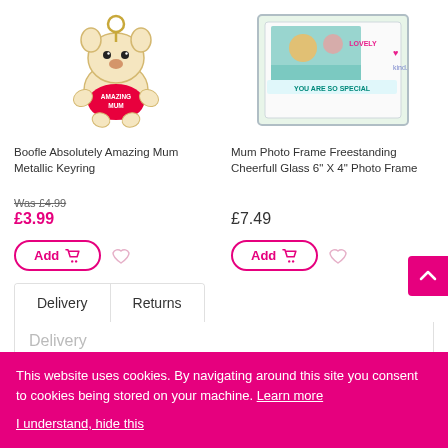[Figure (photo): Boofle bear keyring with 'Amazing Mum' text on red shirt, gold metallic finish]
Boofle Absolutely Amazing Mum Metallic Keyring
Was £4.99
£3.99
[Figure (photo): Mum photo frame freestanding cheerfull glass with family photo and 'You Are So Special' and 'Lovely' text]
Mum Photo Frame Freestanding Cheerfull Glass 6" X 4" Photo Frame
£7.49
Delivery
Returns
Delivery
This website uses cookies. By navigating around this site you consent to cookies being stored on your machine. Learn more

I understand, hide this